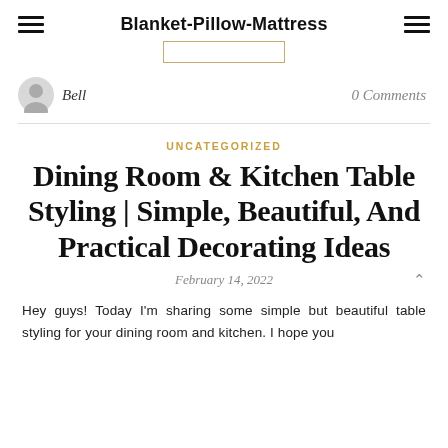Blanket-Pillow-Mattress
Bell
0 Comments
UNCATEGORIZED
Dining Room & Kitchen Table Styling | Simple, Beautiful, And Practical Decorating Ideas
February 14, 2022
Hey guys! Today I'm sharing some simple but beautiful table styling for your dining room and kitchen. I hope you